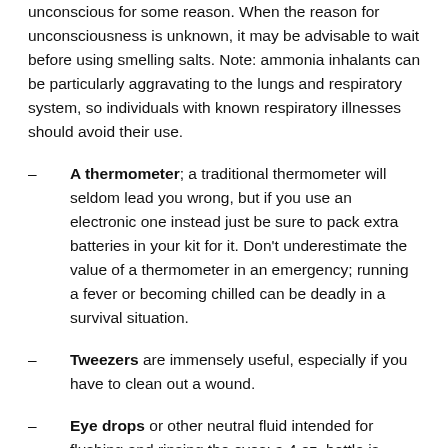unconscious for some reason. When the reason for unconsciousness is unknown, it may be advisable to wait before using smelling salts. Note: ammonia inhalants can be particularly aggravating to the lungs and respiratory system, so individuals with known respiratory illnesses should avoid their use.
A thermometer; a traditional thermometer will seldom lead you wrong, but if you use an electronic one instead just be sure to pack extra batteries in your kit for it. Don't underestimate the value of a thermometer in an emergency; running a fever or becoming chilled can be deadly in a survival situation.
Tweezers are immensely useful, especially if you have to clean out a wound.
Eye drops or other neutral fluid intended for flushing and rinsing the eyes; a 4 oz. bottle is generally sufficient